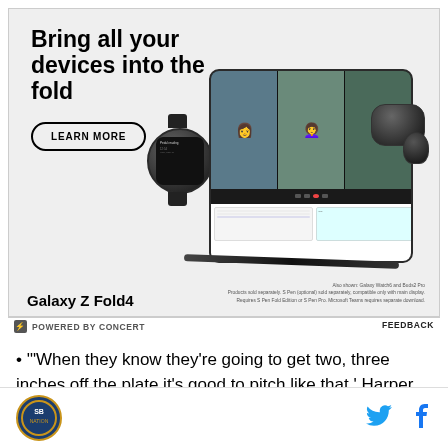[Figure (photo): Samsung Galaxy Z Fold4 advertisement showing the foldable phone open with a video call on screen, alongside a Galaxy Watch6, Buds2 Pro earbuds, and S Pen. Text: 'Bring all your devices into the fold' with a LEARN MORE button. Bottom text: 'Galaxy Z Fold4' and disclaimer 'Also shown: Galaxy Watch6 and Buds2 Pro. Products sold separately. S Pen (optional) sold separately, compatible only with main display. Requires S Pen Fold Edition or S Pen Pro. Microsoft Teams requires separate download.']
⚡ POWERED BY CONCERT
FEEDBACK
• '"When they know they're going to get two, three inches off the plate it's good to pitch like that,' Harper said of pitchers not giving him much to hit." - "Bryce
[Figure (logo): Site logo - circular badge with American flag imagery]
[Figure (logo): Twitter bird icon (blue)]
[Figure (logo): Facebook f icon (blue)]